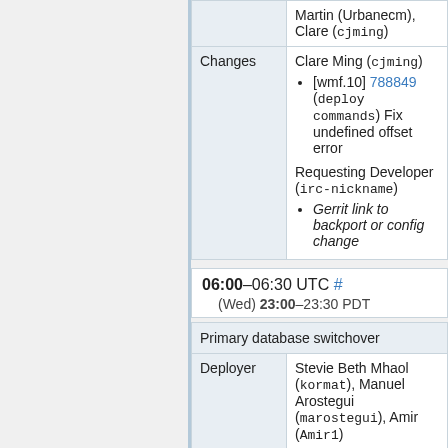|  |  |
| --- | --- |
|  | Martin (Urbanecm), Clare (cjming) |
| Changes | Clare Ming (cjming)
[wmf.10] 788849 (deploy commands) Fix undefined offset error
Requesting Developer (irc-nickname)
Gerrit link to backport or config change |
06:00–06:30 UTC # (Wed) 23:00–23:30 PDT
| Primary database switchover |
| --- |
| Deployer | Stevie Beth Mhaol (kormat), Manuel Arostegui (marostegui), Amir (Amir1) |